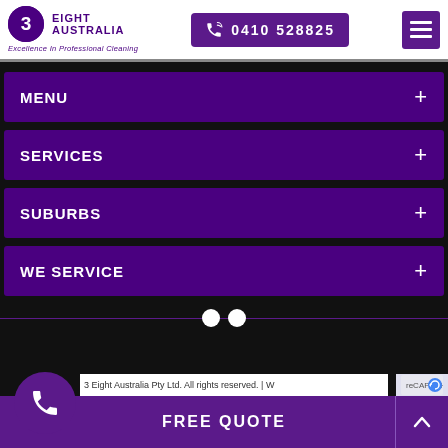3 Eight Australia — Excellence In Professional Cleaning | 0410 528825
MENU +
SERVICES +
SUBURBS +
WE SERVICE +
3 Eight Australia Pty Ltd. All rights reserved. | W… | FREE QUOTE